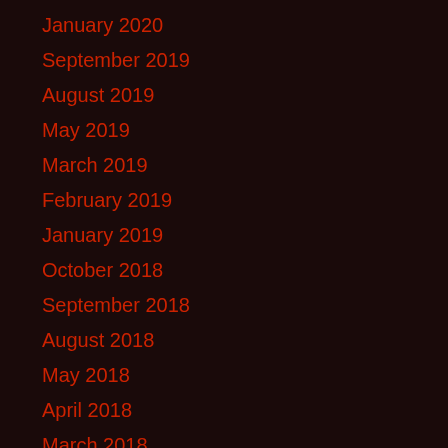January 2020
September 2019
August 2019
May 2019
March 2019
February 2019
January 2019
October 2018
September 2018
August 2018
May 2018
April 2018
March 2018
February 2018
December 2017